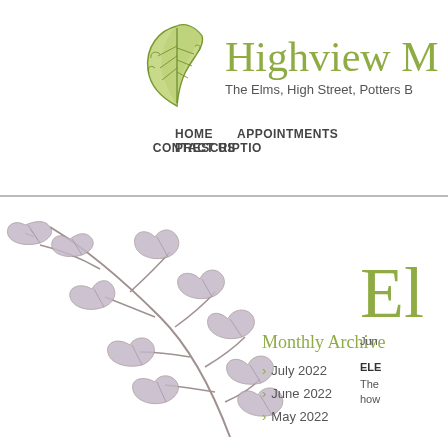[Figure (logo): Green leaf logo illustration for Highview Medical practice]
Highview M
The Elms, High Street, Potters B
HOME   APPOINTMENTS   PRESCRIPTIO   CONTACT US
[Figure (illustration): Decorative grey-purple branch with leaves illustration]
Monthly Archive
July 2022
June 2022
May 2022
El
Jun
ELE
The how